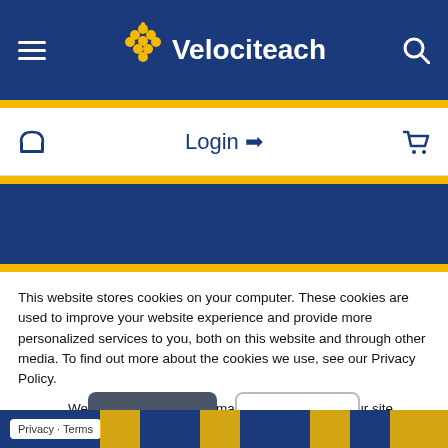Velociteach
Login ➡
This website stores cookies on your computer. These cookies are used to improve your website experience and provide more personalized services to you, both on this website and through other media. To find out more about the cookies we use, see our Privacy Policy.
We won't track your information when you visit our site. But in order to comply with your preferences, we'll have to use just one tiny cookie so that you're not asked to make this choice again.
Accept
Decline
Privacy · Terms